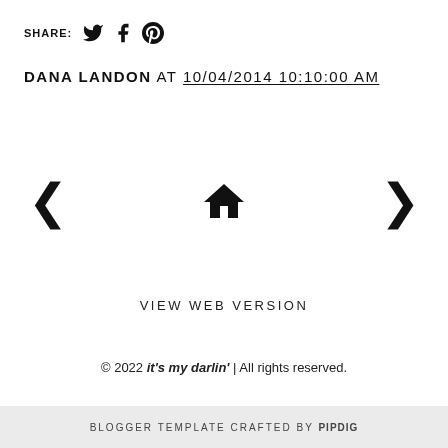SHARE: [twitter icon] [facebook icon] [pinterest icon]
DANA LANDON AT 10/04/2014 10:10:00 AM
[Figure (other): Navigation row with left arrow, home icon, and right arrow]
VIEW WEB VERSION
© 2022 it's my darlin' | All rights reserved.
BLOGGER TEMPLATE CRAFTED BY pipdig